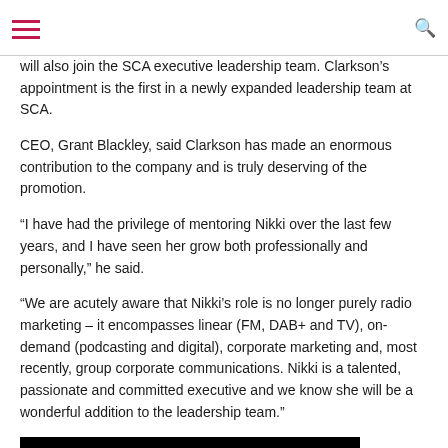[hamburger menu icon] [search icon]
will also join the SCA executive leadership team. Clarkson’s appointment is the first in a newly expanded leadership team at SCA.
CEO, Grant Blackley, said Clarkson has made an enormous contribution to the company and is truly deserving of the promotion.
“I have had the privilege of mentoring Nikki over the last few years, and I have seen her grow both professionally and personally,” he said.
“We are acutely aware that Nikki’s role is no longer purely radio marketing – it encompasses linear (FM, DAB+ and TV), on-demand (podcasting and digital), corporate marketing and, most recently, group corporate communications. Nikki is a talented, passionate and committed executive and we know she will be a wonderful addition to the leadership team.”
[Figure (photo): A black image/photo at the bottom of the page]